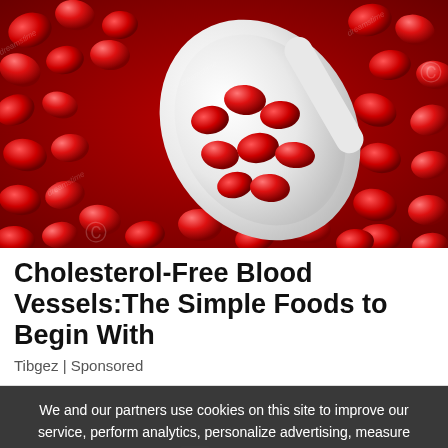[Figure (photo): Close-up photo of shiny red pomegranate seeds/arils with a white spoon, stock photo watermark visible]
Cholesterol-Free Blood Vessels:The Simple Foods to Begin With
Tibgez | Sponsored
We and our partners use cookies on this site to improve our service, perform analytics, personalize advertising, measure advertising performance, and remember website preferences.
Ok